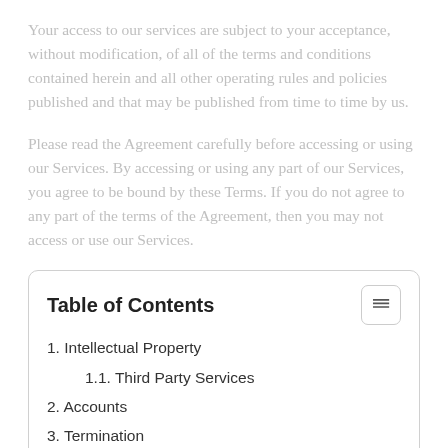Your access to our services are subject to your acceptance, without modification, of all of the terms and conditions contained herein and all other operating rules and policies published and that may be published from time to time by us.
Please read the Agreement carefully before accessing or using our Services. By accessing or using any part of our Services, you agree to be bound by these Terms. If you do not agree to any part of the terms of the Agreement, then you may not access or use our Services.
Table of Contents
1. Intellectual Property
1.1. Third Party Services
2. Accounts
3. Termination
4. Jurisdiction and Applicable Law
5. Changes